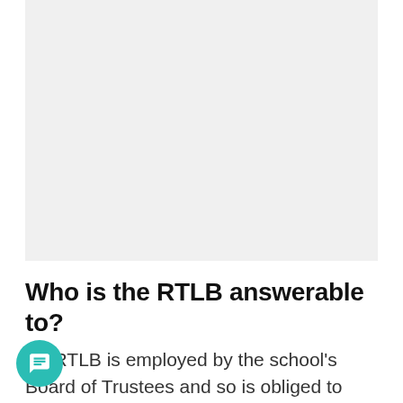[Figure (other): Light grey rectangular image placeholder area at top of page]
Who is the RTLB answerable to?
An RTLB is employed by the school's Board of Trustees and so is obliged to behave as any other